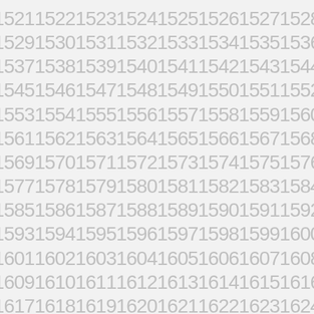1521152215231524152515261527 1528
1529153015311532153315341535 1536
1537153815391540154115421543 1544
1545154615471548154915501551 1552
1553155415551556155715581559 1560
1561156215631564156515661567 1568
1569157015711572157315741575 1576
1577157815791580158115821583 1584
1585158615871588158915901591 1592
1593159415951596159715981599 1600
1601160216031604160516061607 1608
1609161016111612161316141615 1616
1617161816191620162116221623 1624